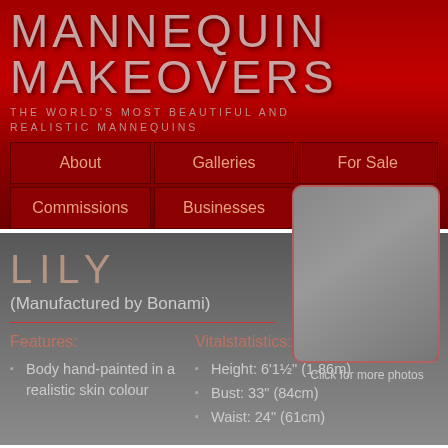MANNEQUIN MAKEOVERS
THE WORLD'S MOST BEAUTIFUL AND REALISTIC MANNEQUINS
About
Galleries
For Sale
Commissions
Businesses
Contact
LILY
(Manufactured by Bonami)
Features:
Body hand-painted in a realistic skin colour
Vitalstatistics:
Height: 6'1½" (1.86m)
Bust: 33" (84cm)
Waist: 24" (61cm)
[Figure (photo): Photo placeholder box for mannequin Lily]
Click for more photos